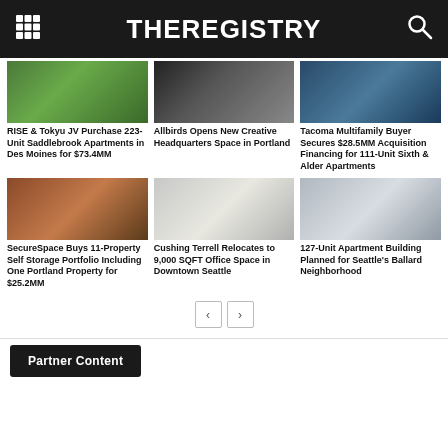THEREGISTRY
[Figure (photo): Green lawn exterior of Saddlebrook Apartments]
RISE & Tokyu JV Purchase 223-Unit Saddlebrook Apartments in Des Moines for $73.4MM
[Figure (photo): Allbirds store interior with glass facade]
Allbirds Opens New Creative Headquarters Space in Portland
[Figure (photo): Aerial view of Tacoma multifamily property]
Tacoma Multifamily Buyer Secures $28.5MM Acquisition Financing for 111-Unit Sixth & Alder Apartments
[Figure (photo): SecureSpace self storage facility exterior]
SecureSpace Buys 11-Property Self Storage Portfolio Including One Portland Property for $25.2MM
[Figure (photo): Cushing Terrell office interior space]
Cushing Terrell Relocates to 9,000 SQFT Office Space in Downtown Seattle
[Figure (photo): Rendering of 127-unit apartment building in Ballard]
127-Unit Apartment Building Planned for Seattle's Ballard Neighborhood
Partner Content